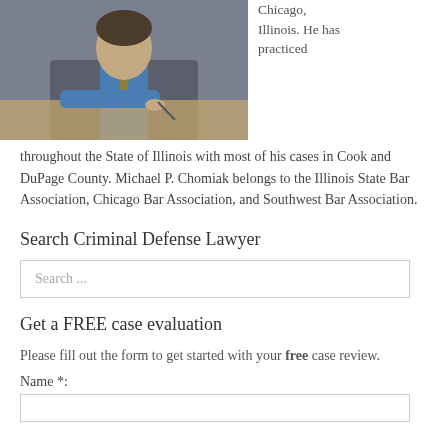[Figure (photo): A man in a suit signing or writing at a desk, photographed from slightly above.]
Chicago, Illinois. He has practiced throughout the State of Illinois with most of his cases in Cook and DuPage County. Michael P. Chomiak belongs to the Illinois State Bar Association, Chicago Bar Association, and Southwest Bar Association.
Search Criminal Defense Lawyer
Search ...
Get a FREE case evaluation
Please fill out the form to get started with your free case review.
Name *: